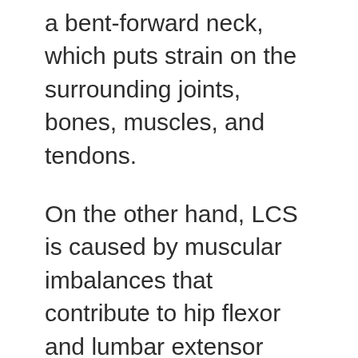a bent-forward neck, which puts strain on the surrounding joints, bones, muscles, and tendons.
On the other hand, LCS is caused by muscular imbalances that contribute to hip flexor and lumbar extensor rigidity and the weakening of the deep abdominal muscles.
Female Vitality Blueprint aims to fix this root cause. Structure of Female Vitality Blueprint Female Vitality...